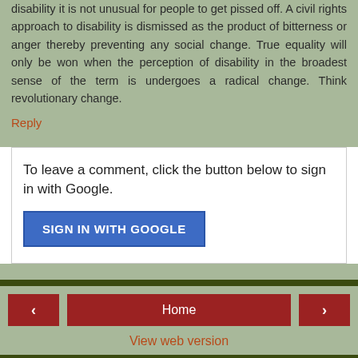disability it is not unusual for people to get pissed off. A civil rights approach to disability is dismissed as the product of bitterness or anger thereby preventing any social change. True equality will only be won when the perception of disability in the broadest sense of the term is undergoes a radical change. Think revolutionary change.
Reply
To leave a comment, click the button below to sign in with Google.
SIGN IN WITH GOOGLE
Home
View web version
ABOUT ME
william Peace
PhD 1992 in anthropology Columbia University. I am interested in